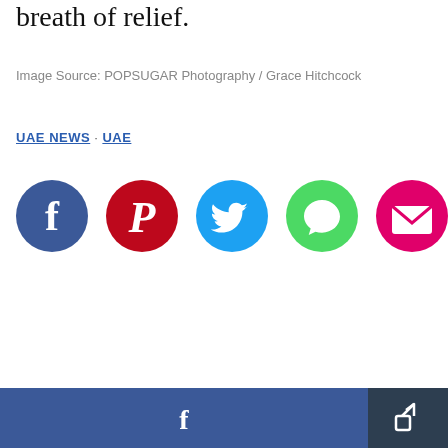breath of relief.
Image Source: POPSUGAR Photography / Grace Hitchcock
UAE NEWS · UAE
[Figure (infographic): Row of five social media share buttons: Facebook (dark blue circle with 'f'), Pinterest (red circle with 'P'), Twitter (light blue circle with bird), SMS/Chat (green circle with speech bubble), Email (pink/magenta circle with envelope icon)]
[Figure (infographic): Bottom bar with two buttons: wide Facebook share button (dark blue with 'f' icon) and a smaller dark share/forward button with an arrow icon]